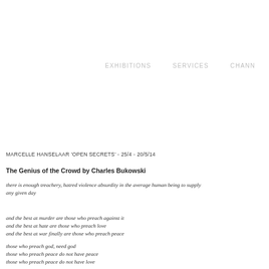EXHIBITIONS   SERVICES   CHANN
MARCELLE HANSELAAR 'OPEN SECRETS' - 25/4 - 20/5/14
The Genius of the Crowd by Charles Bukowski
there is enough treachery, hatred violence absurdity in the average human being to supply any given day

and the best at murder are those who preach against it
and the best at hate are those who preach love
and the best at war finally are those who preach peace

those who preach god, need god
those who preach peace do not have peace
those who preach peace do not have love